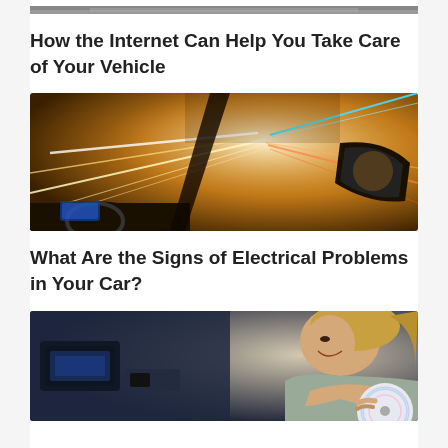[Figure (photo): Partial cropped photo at top of page, appears to be a dark automotive or road scene]
How the Internet Can Help You Take Care of Your Vehicle
[Figure (photo): Interior of a car at night with bright streaking lights visible through the windshield, showing dashboard and side mirror, warm golden tones]
What Are the Signs of Electrical Problems in Your Car?
[Figure (photo): Woman sitting in driver's seat of a car holding a CD, smiling, dark interior background]